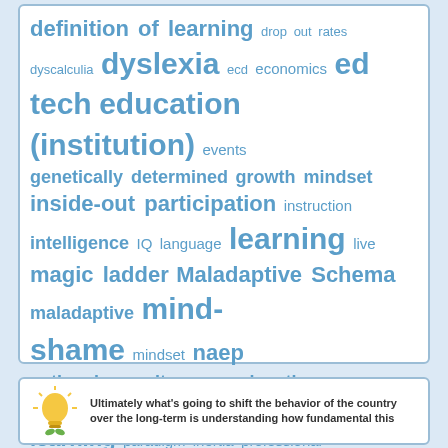[Figure (other): Word cloud with education-related terms in varying sizes, displayed in blue text on white background with blue border. Terms include: definition of learning, drop out rates, dyscalculia, dyslexia, ecd, economics, ed tech, education (institution), events, genetically determined, growth mindset, inside-out participation, instruction, intelligence, IQ, language, learning, live, magic ladder, Maladaptive Schema, maladaptive, mind-shame, mindset, naep, national security, neuroeducation, orthography, other words for learning, paradigm inertia, professional development, reading, self-esteem, shame, technology, transformation, unhealthy learning, vocabulary, working memory]
Ultimately what's going to shift the behavior of the country over the long-term is understanding how fundamental this